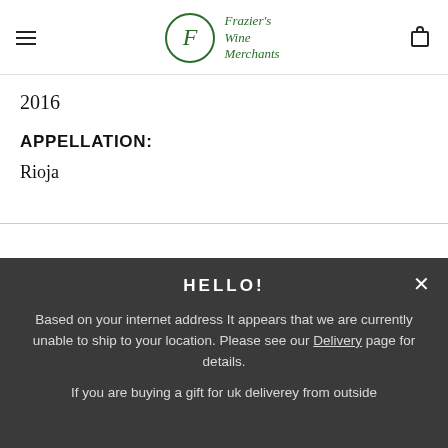Frazier's Wine Merchants
2016
APPELLATION:
Rioja
HELLO!
Based on your internet address It appears that we are currently unable to ship to your location. Please see our Delivery page for details.
If you are buying a gift for uk deliverey from outside